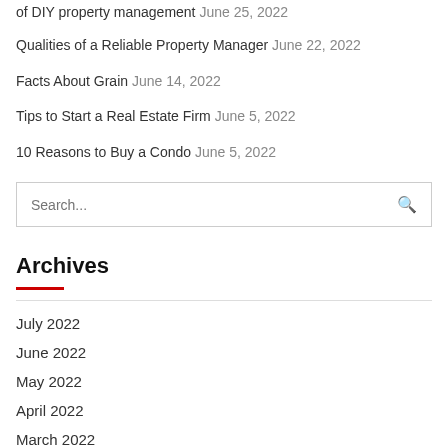of DIY property management June 25, 2022
Qualities of a Reliable Property Manager June 22, 2022
Facts About Grain June 14, 2022
Tips to Start a Real Estate Firm June 5, 2022
10 Reasons to Buy a Condo June 5, 2022
Search...
Archives
July 2022
June 2022
May 2022
April 2022
March 2022